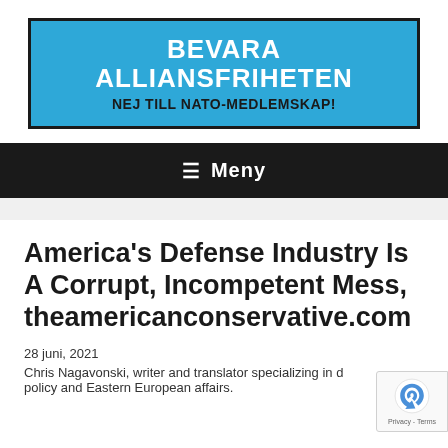[Figure (logo): Blue banner with black border reading 'BEVARA ALLIANSFRIHETEN' in white bold text, and 'NEJ TILL NATO-MEDLEMSKAP!' in black bold text below]
≡ Meny
America's Defense Industry Is A Corrupt, Incompetent Mess, theamericanconservative.com
28 juni, 2021
Chris Nagavonski, writer and translator specializing in defense policy and Eastern European affairs.